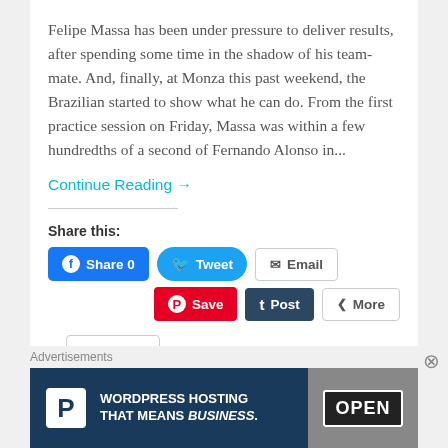Felipe Massa has been under pressure to deliver results, after spending some time in the shadow of his team-mate. And, finally, at Monza this past weekend, the Brazilian started to show what he can do. From the first practice session on Friday, Massa was within a few hundredths of a second of Fernando Alonso in...
Continue Reading →
Share this:
[Figure (screenshot): Social sharing buttons: Facebook Share 0, Tweet, Email, Pinterest Save, Tumblr Post, More]
[Figure (screenshot): Like button widget]
Be the first to like this.
Advertisements
[Figure (infographic): WordPress Hosting That Means Business advertisement banner with P logo and OPEN sign photo]